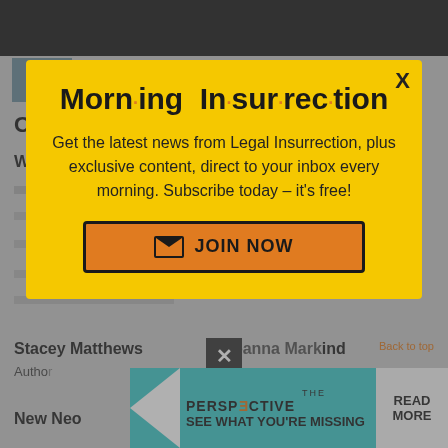CONTRIBUTORS
William A. Jacobson
[Figure (screenshot): Morning Insurrection email subscription modal popup with yellow background, title 'Morn·ing In·sur·rec·tion', subscription call-to-action text, and orange JOIN NOW button]
Stacey Matthews
Joanna Markind
Author
New Neo
Mandy Nagy
[Figure (screenshot): Bottom advertisement banner: THE PERSPECTIVE - SEE WHAT YOU'RE MISSING - READ MORE]